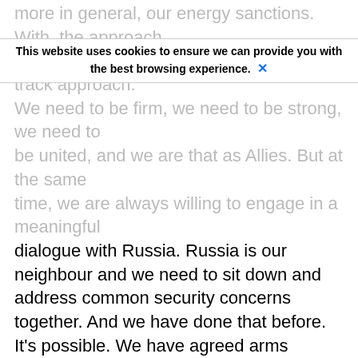more in general, ourergy sanctions. With, the approach to Russia, which is what we call the dual-track approach. We need to be firm, we need to be strong, we need to be united, and we are that as Allies. But at the same time, we are always willing to engage in a meaningful dialogue with Russia. Russia is our neighbour and we need to sit down and address common security concerns together. And we have done that before. It's possible. We have agreed arms control agreements after the end of the Cold War, we actually made a lot of progress together. And of course, that's possible. That's another path. And we really call on Russia to choose that path of cooperation, of dialogue, of de-escalation instead of confrontation.
NATO Spokesperson: We'll go to RIA.
Nadim Zuaui (RIA Novosti): I have a question about, when do you expect any progress in restoring of the Russian Mission here in the headquarters of NATO? And do you have any precondition for this?